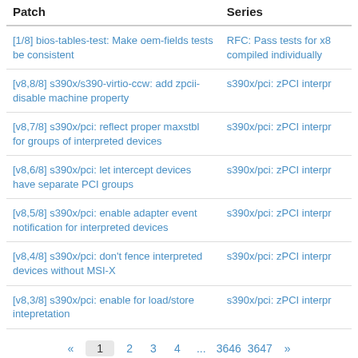| Patch | Series |
| --- | --- |
| [1/8] bios-tables-test: Make oem-fields tests be consistent | RFC: Pass tests for x8 compiled individually |
| [v8,8/8] s390x/s390-virtio-ccw: add zpcii-disable machine property | s390x/pci: zPCI interpr |
| [v8,7/8] s390x/pci: reflect proper maxstbl for groups of interpreted devices | s390x/pci: zPCI interpr |
| [v8,6/8] s390x/pci: let intercept devices have separate PCI groups | s390x/pci: zPCI interpr |
| [v8,5/8] s390x/pci: enable adapter event notification for interpreted devices | s390x/pci: zPCI interpr |
| [v8,4/8] s390x/pci: don't fence interpreted devices without MSI-X | s390x/pci: zPCI interpr |
| [v8,3/8] s390x/pci: enable for load/store intepretation | s390x/pci: zPCI interpr |
« 1 2 3 4 ... 3646 3647 »
patchwork patch tracking system | version 2.2.0. | about patchwork